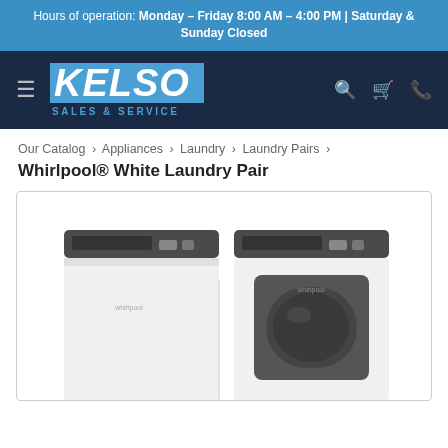Hours of operation: Monday - Friday 8:00 AM - 4:00 PM | Saturday & Sunday Closed
[Figure (logo): Kelso Sales & Service logo with hamburger menu, search, cart, and phone icons on dark navy background]
Our Catalog › Appliances › Laundry › Laundry Pairs ›
Whirlpool® White Laundry Pair
[Figure (photo): Whirlpool white top-load washer and front-load dryer pair on white background inside a bordered product image box]